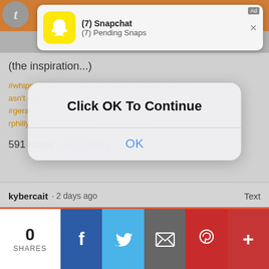[Figure (screenshot): Snapchat push notification with yellow ghost icon showing '(7) Snapchat' and '(7) Pending Snaps' with Ad label and X close button]
(the inspiration...)
#whipped the up to fast last night while the show wasn't even #mcr #gerardway #mikey way #frank iero #ray toro #mcrphilly #rambligs will be sad but you gonna
[Figure (screenshot): iOS-style dialog box with bold text 'Click OK To Continue' and blue 'OK' button]
591 notes · view notes
kybercait · 2 days ago   Text
0 SHARES